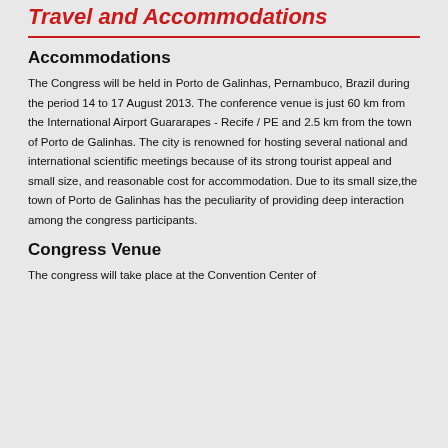Travel and Accommodations
Accommodations
The Congress will be held in Porto de Galinhas, Pernambuco, Brazil during the period 14 to 17 August 2013. The conference venue is just 60 km from the International Airport Guararapes - Recife / PE and 2.5 km from the town of Porto de Galinhas. The city is renowned for hosting several national and international scientific meetings because of its strong tourist appeal and small size, and reasonable cost for accommodation. Due to its small size,the town of Porto de Galinhas has the peculiarity of providing deep interaction among the congress participants.
Congress Venue
The congress will take place at the Convention Center of